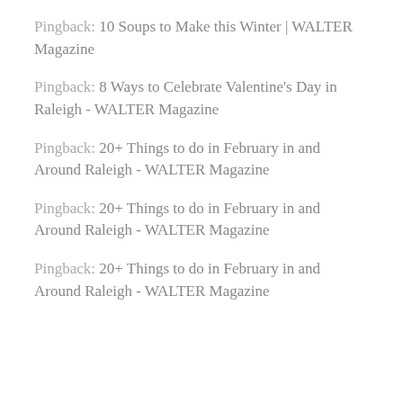Pingback: 10 Soups to Make this Winter | WALTER Magazine
Pingback: 8 Ways to Celebrate Valentine's Day in Raleigh - WALTER Magazine
Pingback: 20+ Things to do in February in and Around Raleigh - WALTER Magazine
Pingback: 20+ Things to do in February in and Around Raleigh - WALTER Magazine
Pingback: 20+ Things to do in February in and Around Raleigh - WALTER Magazine